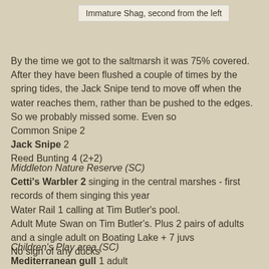Immature Shag, second from the left
By the time we got to the saltmarsh it was 75% covered. After they have been flushed a couple of times by the spring tides, the Jack Snipe tend to move off when the water reaches them, rather than be pushed to the edges. So we probably missed some. Even so
Common Snipe 2
Jack Snipe 2
Reed Bunting 4 (2+2)
Middleton Nature Reserve (SC)
Cetti's Warbler 2 singing in the central marshes - first records of them singing this year
Water Rail 1 calling at Tim Butler's pool.
Adult Mute Swan on Tim Butler's. Plus 2 pairs of adults and a single adult on Boating Lake + 7 juvs
No sign of any ducks
Children's Play area (SC)
Mediterranean gull 1 adult